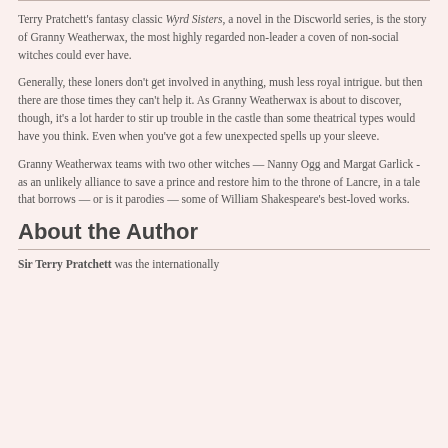Terry Pratchett’s fantasy classic Wyrd Sisters, a novel in the Discworld series, is the story of Granny Weatherwax, the most highly regarded non-leader a coven of non-social witches could ever have.
Generally, these loners don't get involved in anything, mush less royal intrigue. but then there are those times they can't help it. As Granny Weatherwax is about to discover, though, it's a lot harder to stir up trouble in the castle than some theatrical types would have you think. Even when you've got a few unexpected spells up your sleeve.
Granny Weatherwax teams with two other witches — Nanny Ogg and Margat Garlick - as an unlikely alliance to save a prince and restore him to the throne of Lancre, in a tale that borrows — or is it parodies — some of William Shakespeare's best-loved works.
About the Author
Sir Terry Pratchett was the internationally